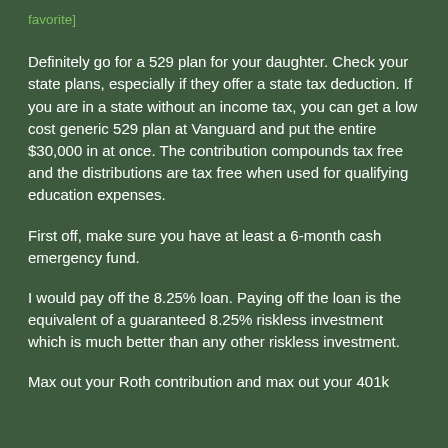favorite]
Definitely go for a 529 plan for your daughter. Check your state plans, especially if they offer a state tax deduction. If you are in a state without an income tax, you can get a low cost generic 529 plan at Vanguard and put the entire $30,000 in at once. The contribution compounds tax free and the distributions are tax free when used for qualifying education expenses.
First off, make sure you have at least a 6-month cash emergency fund.
I would pay off the 8.25% loan. Paying off the loan is the equivalent of a guaranteed 8.25% riskless investment which is much better than any other riskless investment.
Max out your Roth contribution and max out your 401k